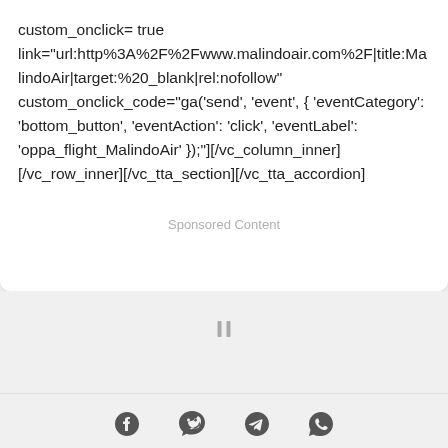custom_onclick= true link="url:http%3A%2F%2Fwww.malindoair.com%2F|title:MalindoAir|target:%20_blank|rel:nofollow" custom_onclick_code="ga('send', 'event', { 'eventCategory': 'bottom_button', 'eventAction': 'click', 'eventLabel': 'oppa_flight_MalindoAir' });"][/vc_column_inner][/vc_row_inner][/vc_tta_section][/vc_tta_accordion]
Sponsored Content
[Figure (other): Pause icon (two vertical bars)]
[Figure (other): Footer social share icons: Facebook, WeChat, Telegram, WhatsApp]